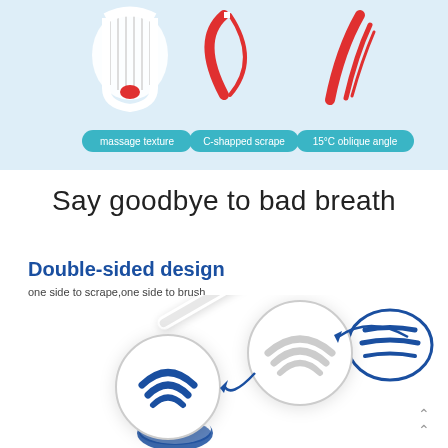[Figure (illustration): Product feature diagram showing three tongue scraper/brush tool views with labeled features: massage texture (white U-shaped brush head), C-shapped scrape (red C-shaped scraper), 15°C oblique angle (red angled scraper), displayed on light blue background]
massage texture   C-shapped scrape   15°C oblique angle
Say goodbye to bad breath
Double-sided design
one side to scrape,one side to brush
[Figure (illustration): Product illustration showing tongue scraper/brusher tool with two circular zoom insets: top inset shows white bristle brush side, bottom inset shows blue C-shaped scraper side, with blue arrows pointing to each inset from the tool]